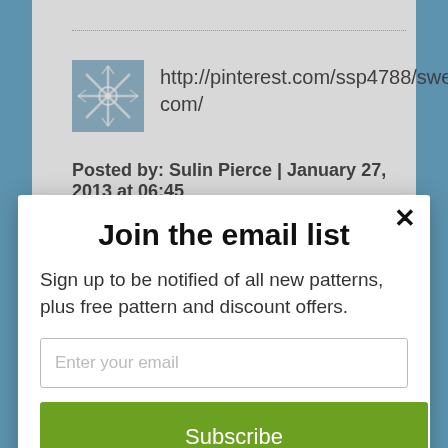http://pinterest.com/ssp4788/sweaterbabe-com/
Posted by: Sulin Pierce | January 27, 2013 at 06:45
Join the email list
Sign up to be notified of all new patterns, plus free pattern and discount offers.
Enter your email
Subscribe
powered by MailMunch